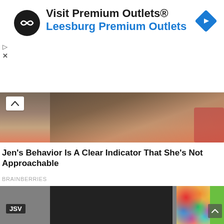[Figure (screenshot): Advertisement banner for Visit Premium Outlets / Leesburg Premium Outlets with circular logo on left and blue navigation diamond icon on right]
[Figure (photo): Partial photo of a woman wearing a dark ribbed sweater with a gold pendant necklace, seated on a colorful couch, with a scroll-up chevron button in the lower left]
Jen's Behavior Is A Clear Indicator That She's Not Approachable
BRAINBERRIES
[Figure (screenshot): Gray video player panel with JSV badge in lower left, dark thumbnail strip, colorful spheres thumbnail on the right, and green strip at far right with scroll-up chevron button]